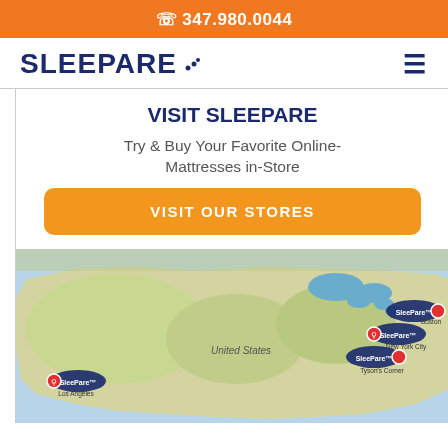📞 347.980.0044
SLEEPARE
VISIT SLEEPARE
Try & Buy Your Favorite Online-Mattresses in-Store
VISIT OUR STORES
[Figure (map): Google map of the United States showing Sleepare store locations marked with pins near Los Angeles, New York City, Boston, and Tyson's Corner areas.]